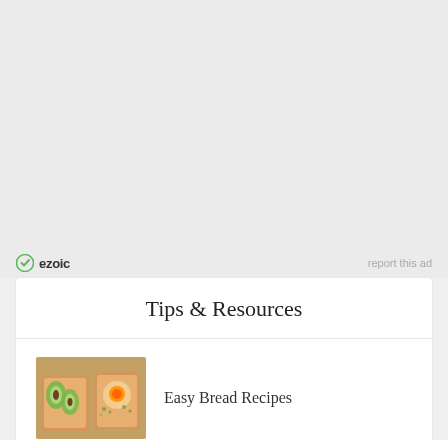[Figure (logo): Ezoic logo with green circle icon and bold 'ezoic' text, with 'report this ad' link on the right]
Tips & Resources
[Figure (photo): Photo of bread topped with avocado slices and other toppings on a wooden surface]
Easy Bread Recipes